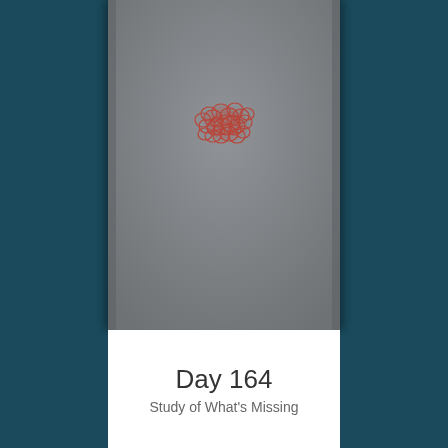[Figure (photo): A photograph of a gray background with a red hand-drawn or stamped heart-like shape made of overlapping circles/loops in the upper-center area of the image.]
Day 164
Study of What's Missing